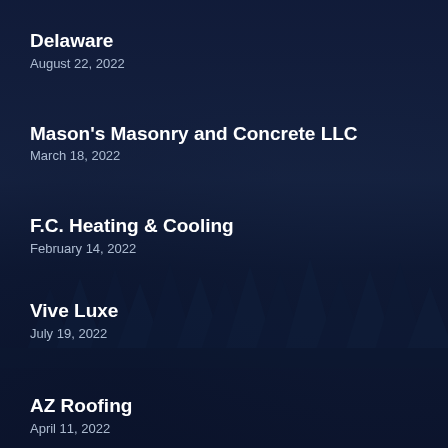Delaware
August 22, 2022
Mason's Masonry and Concrete LLC
March 18, 2022
F.C. Heating & Cooling
February 14, 2022
Vive Luxe
July 19, 2022
AZ Roofing
April 11, 2022
Yavapai Landscaping Pros...